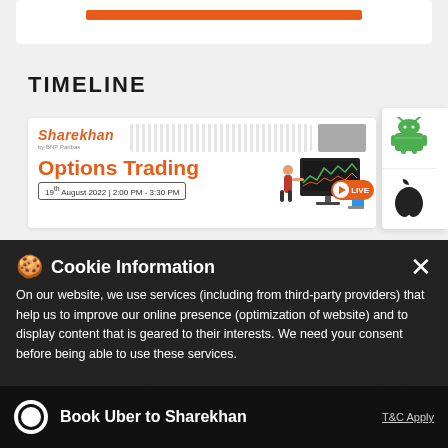[Figure (screenshot): Top white card with orange button bar]
TIMELINE
[Figure (screenshot): Sharekhan Options Trading card with date 19th August 2022 | 2:00 PM - 3:30 PM and LIVE badge, plus Android and Apple app store icon panel]
[Figure (infographic): Cookie Information overlay banner with close button, cookie emoji, title and consent text]
On our website, we use services (including from third-party providers) that help us to improve our online presence (optimization of website) and to display content that is geared to their interests. We need your consent before being able to use these services.
Options Trading in this FREE module by #SharekhanClassroom. Date: August 19, 2022 Time:
[Figure (logo): Book Uber to Sharekhan bottom bar with Uber logo and T&C Apply text]